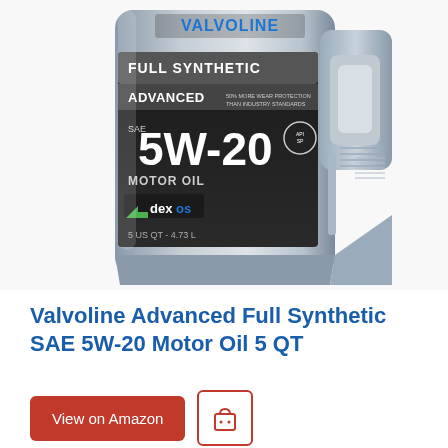[Figure (photo): Product photo of a Valvoline Advanced Full Synthetic SAE 5W-20 Motor Oil 5 QT bottle. Silver/gray plastic jug with handle. Label shows: FULL SYNTHETIC, ADVANCED (50% more wear protection than industry standards), SAE 5W-20 MOTOR OIL, dexos logo, 5 US QT - 4.73L. Valvoline logo visible at top.]
Valvoline Advanced Full Synthetic SAE 5W-20 Motor Oil 5 QT
View on Amazon